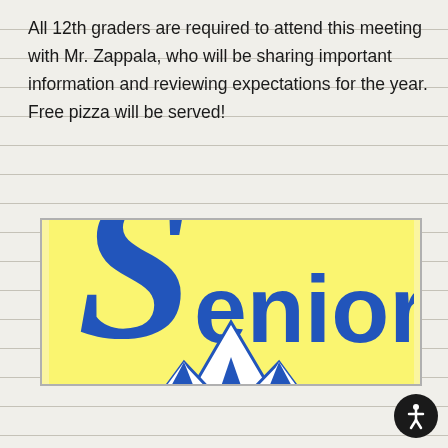All 12th graders are required to attend this meeting with Mr. Zappala, who will be sharing important information and reviewing expectations for the year. Free pizza will be served!
[Figure (logo): Yellow background logo with large blue stylized 'S' followed by 'eniors' text in blue, and below it a mountain graphic with 'MEA' letters in blue and white.]